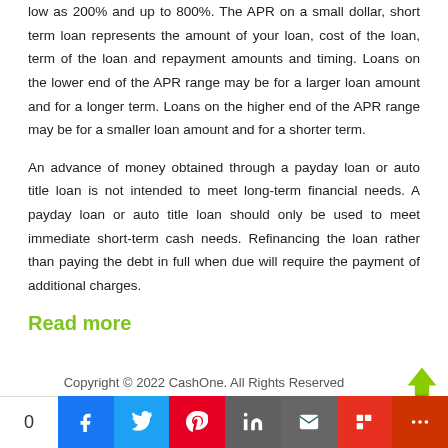low as 200% and up to 800%. The APR on a small dollar, short term loan represents the amount of your loan, cost of the loan, term of the loan and repayment amounts and timing. Loans on the lower end of the APR range may be for a larger loan amount and for a longer term. Loans on the higher end of the APR range may be for a smaller loan amount and for a shorter term.
An advance of money obtained through a payday loan or auto title loan is not intended to meet long-term financial needs. A payday loan or auto title loan should only be used to meet immediate short-term cash needs. Refinancing the loan rather than paying the debt in full when due will require the payment of additional charges.
Read more
Copyright © 2022 CashOne. All Rights Reserved